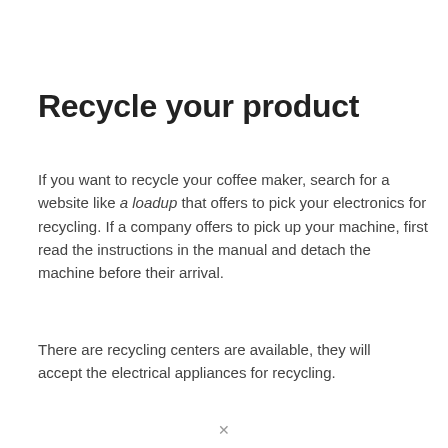Recycle your product
If you want to recycle your coffee maker, search for a website like a loadup that offers to pick your electronics for recycling. If a company offers to pick up your machine, first read the instructions in the manual and detach the machine before their arrival.
There are recycling centers are available, they will accept the electrical appliances for recycling.